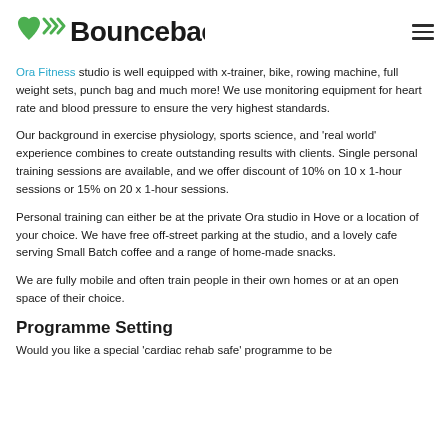Bounceback
Ora Fitness studio is well equipped with x-trainer, bike, rowing machine, full weight sets, punch bag and much more! We use monitoring equipment for heart rate and blood pressure to ensure the very highest standards.
Our background in exercise physiology, sports science, and 'real world' experience combines to create outstanding results with clients. Single personal training sessions are available, and we offer discount of 10% on 10 x 1-hour sessions or 15% on 20 x 1-hour sessions.
Personal training can either be at the private Ora studio in Hove or a location of your choice. We have free off-street parking at the studio, and a lovely cafe serving Small Batch coffee and a range of home-made snacks.
We are fully mobile and often train people in their own homes or at an open space of their choice.
Programme Setting
Would you like a special 'cardiac rehab safe' programme to be